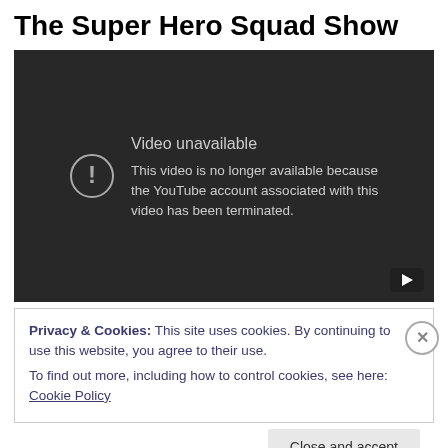The Super Hero Squad Show
[Figure (screenshot): Embedded video player showing error message: 'Video unavailable. This video is no longer available because the YouTube account associated with this video has been terminated.']
Privacy & Cookies: This site uses cookies. By continuing to use this website, you agree to their use.
To find out more, including how to control cookies, see here: Cookie Policy
Close and accept